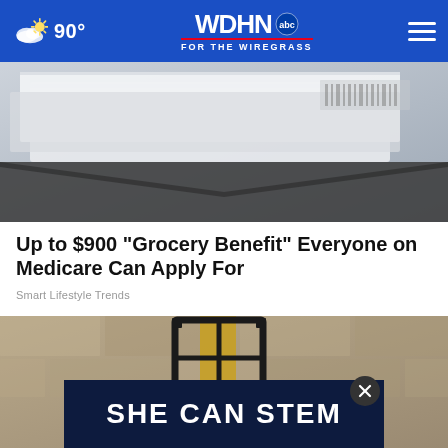WDHN ABC FOR THE WIREGRASS — 90°
[Figure (photo): Close-up photo of envelopes or mail documents on a surface]
Up to $900 "Grocery Benefit" Everyone on Medicare Can Apply For
Smart Lifestyle Trends
[Figure (photo): Photo of a black metal wall-mounted lantern fixture against a stone wall, with a white plastic bottle hanging below it. Overlay ad banner reading 'SHE CAN STEM' with a close button.]